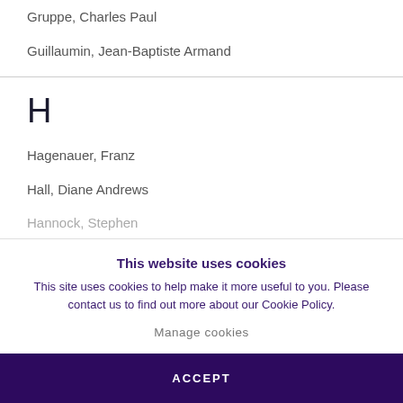Gruppe, Charles Paul
Guillaumin, Jean-Baptiste Armand
H
Hagenauer, Franz
Hall, Diane Andrews
Hannock, Stephen
This website uses cookies
This site uses cookies to help make it more useful to you. Please contact us to find out more about our Cookie Policy.
Manage cookies
ACCEPT